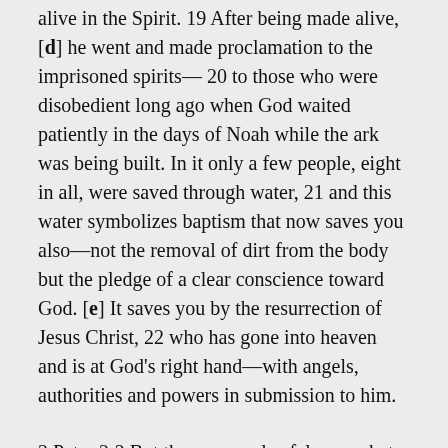alive in the Spirit. 19 After being made alive,[d] he went and made proclamation to the imprisoned spirits— 20 to those who were disobedient long ago when God waited patiently in the days of Noah while the ark was being built. In it only a few people, eight in all, were saved through water, 21 and this water symbolizes baptism that now saves you also—not the removal of dirt from the body but the pledge of a clear conscience toward God. [e] It saves you by the resurrection of Jesus Christ, 22 who has gone into heaven and is at God's right hand—with angels, authorities and powers in submission to him.
2 Peter 2:2 But there were also false prophets among the people, just as there will be false teachers among you. They will secretly introduce destructive heresies, even denying the sovereign Lord who bought them—bringing swift